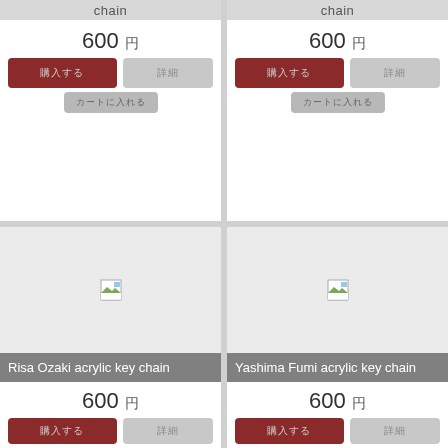chain
600 円
購入する
詳細
カートに入れる
chain
600 円
購入する
詳細
カートに入れる
Risa Ozaki acrylic key chain
600 円
Yashima Fumi acrylic key chain
600 円